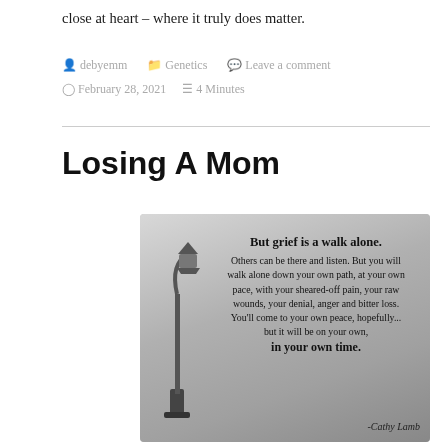close at heart – where it truly does matter.
debyemm   Genetics   Leave a comment   February 28, 2021   4 Minutes
Losing A Mom
[Figure (photo): Grayscale image of a foggy path with a lamp post and a grief quote by Cathy Lamb: 'But grief is a walk alone. Others can be there and listen. But you will walk alone down your own path, at your own pace, with your sheared-off pain, your raw wounds, your denial, anger and bitter loss. You'll come to your own peace, hopefully... but it will be on your own, in your own time. -Cathy Lamb']